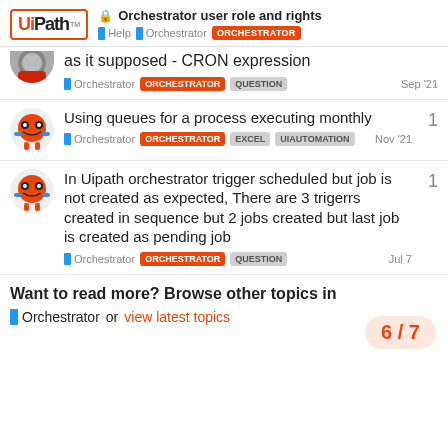Orchestrator user role and rights — Help | Orchestrator | ORCHESTRATOR
as it supposed - CRON expression — Orchestrator ORCHESTRATOR QUESTION Sep '21
Using queues for a process executing monthly — Orchestrator ORCHESTRATOR EXCEL UIAUTOMATION Nov '21 — replies: 1
In Uipath orchestrator trigger scheduled but job is not created as expected, There are 3 trigerrs created in sequence but 2 jobs created but last job is created as pending job — Orchestrator ORCHESTRATOR QUESTION Jul 7 — replies: 1
Want to read more? Browse other topics in Orchestrator or view latest topics
6 / 7